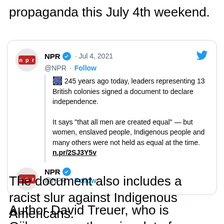propaganda this July 4th weekend.
[Figure (screenshot): Embedded tweet from NPR (@NPR) dated Jul 4, 2021 with verified badge and Follow link. Tweet text: '🇺🇸 245 years ago today, leaders representing 13 British colonies signed a document to declare independence. It says "that all men are created equal" — but women, enslaved people, Indigenous people and many others were not held as equal at the time. n.pr/2SJ3Y5v'. Below this is a second NPR tweet header with @NPR and Follow.]
The document also includes a racist slur against Indigenous Americans.
Author David Treuer, who is Ojibwe, says there is a lot of diversity of opinion and